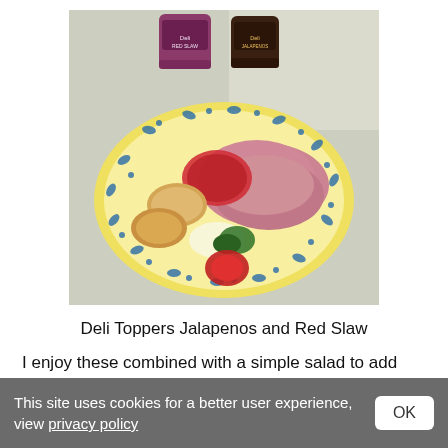[Figure (photo): A plate with sliced gammon/ham, bread rolls, red slaw, jalapeño peppers, and red peppers on a yellow and blue patterned plate. Two jars of condiments (Deli Toppers Jalapenos and Red Slaw) are visible in the background on a granite countertop.]
Deli Toppers Jalapenos and Red Slaw
I enjoy these combined with a simple salad to add more flavour to lettuce, tomatoes and cucumber. I also added them to a gammon joint I recently bought and they were a lovely addition. The red and green coloured peppers plus
This site uses cookies for a better user experience, view privacy policy OK